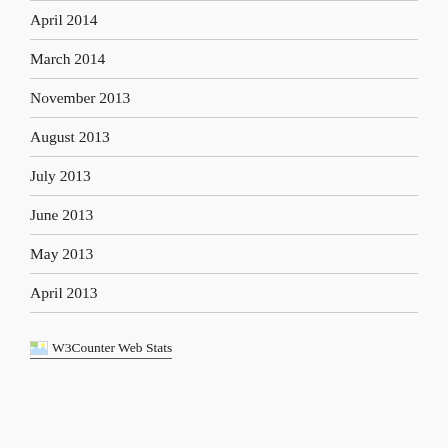April 2014
March 2014
November 2013
August 2013
July 2013
June 2013
May 2013
April 2013
[Figure (other): W3Counter Web Stats image link with broken image icon and underlined text]